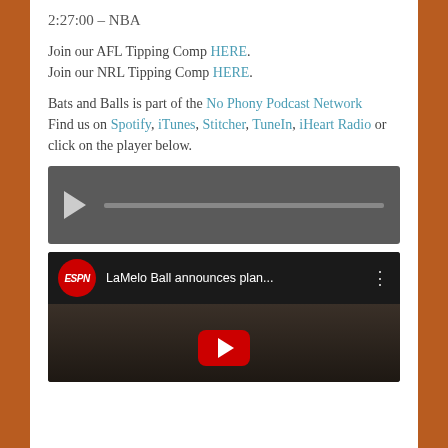2:27:00 – NBA
Join our AFL Tipping Comp HERE.
Join our NRL Tipping Comp HERE.
Bats and Balls is part of the No Phony Podcast Network
Find us on Spotify, iTunes, Stitcher, TuneIn, iHeart Radio or click on the player below.
[Figure (other): Audio player bar with play button and progress bar]
[Figure (screenshot): YouTube video thumbnail showing ESPN video titled 'LaMelo Ball announces plan...' with YouTube play button overlay and a person in background]